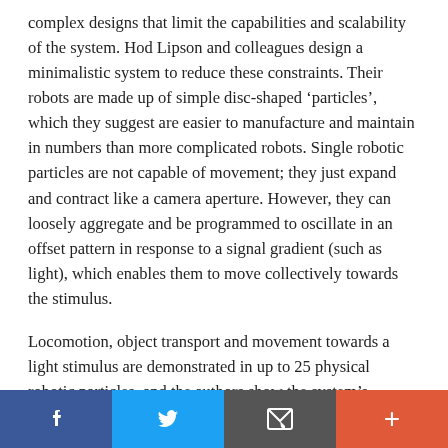complex designs that limit the capabilities and scalability of the system. Hod Lipson and colleagues design a minimalistic system to reduce these constraints. Their robots are made up of simple disc-shaped 'particles', which they suggest are easier to manufacture and maintain in numbers than more complicated robots. Single robotic particles are not capable of movement; they just expand and contract like a camera aperture. However, they can loosely aggregate and be programmed to oscillate in an offset pattern in response to a signal gradient (such as light), which enables them to move collectively towards the stimulus.
Locomotion, object transport and movement towards a light stimulus are demonstrated in up to 25 physical robotic particles, and the authors show the system's scalability in simulations with up to 100,000 particles. The system is also capable of carrying 'dead weight', with simulations predicting that it could maintain